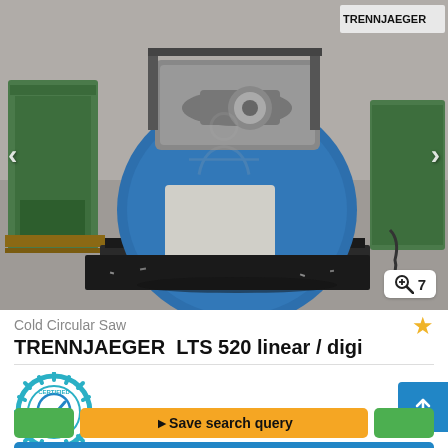[Figure (photo): Cold circular saw machine TRENNJAEGER LTS 520 linear / digi sitting on a wooden pallet in an industrial workshop environment. The machine is predominantly blue and cylindrical. Other green machinery visible in the background.]
Cold Circular Saw
TRENNJAEGER  LTS 520 linear / digi
[Figure (logo): Certified Dealer badge: circular teal/cyan gear-like badge with checkmark in the center and text 'CERTIFIED' at top and 'DEALER' at bottom.]
Save search query
Call